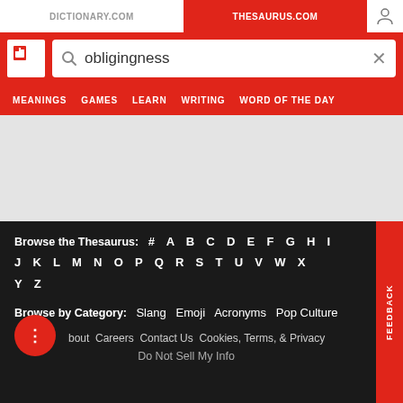DICTIONARY.COM | THESAURUS.COM
[Figure (screenshot): Thesaurus.com website header with search bar showing 'obligingness', navigation tabs for MEANINGS, GAMES, LEARN, WRITING, WORD OF THE DAY]
Browse the Thesaurus: # A B C D E F G H I J K L M N O P Q R S T U V W X Y Z
Browse by Category: Slang Emoji Acronyms Pop Culture
About Careers Contact Us Cookies, Terms, & Privacy Do Not Sell My Info